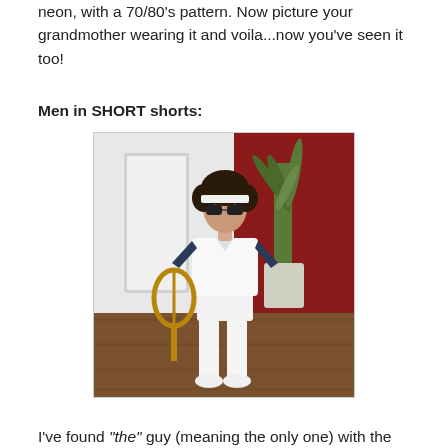neon, with a 70/80's pattern. Now picture your grandmother wearing it and voila...now you've seen it too!
Men in SHORT shorts:
[Figure (photo): A man dressed in a retro 70s/80s tennis outfit: white polo shirt with navy raglan sleeves, very short white shorts, white knee-high socks, white sneakers, a white headband, dark sunglasses, and a curly dark wig. He is holding a wooden tennis racket frame without strings. He stands indoors with a red brick wall and a large potted plant behind him, on a hardwood floor near a white door.]
I've found “the” guy (meaning the only one) with the